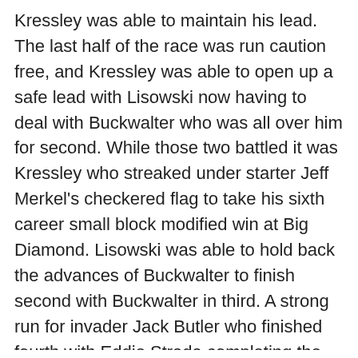Kressley was able to maintain his lead. The last half of the race was run caution free, and Kressley was able to open up a safe lead with Lisowski now having to deal with Buckwalter who was all over him for second. While those two battled it was Kressley who streaked under starter Jeff Merkel's checkered flag to take his sixth career small block modified win at Big Diamond. Lisowski was able to hold back the advances of Buckwalter to finish second with Buckwalter in third. A strong run for invader Jack Butler who finished fourth with Eddie Strada completing the top five. The win for Kressley was worth $3,500.
“Hat’s off to Mike (Lisowski), he is a hell of a racer, and he has his program turned around this year and is running well,” said a happy Kressley in victory lane after his big win. “I was able to get a good run on him on that restart and that was best thing that could’ve happened there. Then I realized that the middle groove was good once I got around him and then I was able to